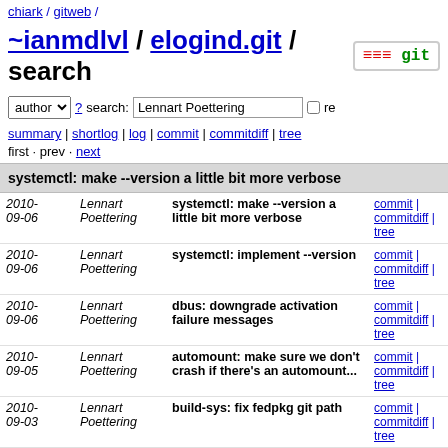chiark / gitweb /
~ianmdlvl / elogind.git / search
author ? search: Lennart Poettering re
summary | shortlog | log | commit | commitdiff | tree
first · prev · next
systemctl: make --version a little bit more verbose
| date | author | message | links |
| --- | --- | --- | --- |
| 2010-09-06 | Lennart Poettering | systemctl: make --version a little bit more verbose | commit | commitdiff | tree |
| 2010-09-06 | Lennart Poettering | systemctl: implement --version | commit | commitdiff | tree |
| 2010-09-06 | Lennart Poettering | dbus: downgrade activation failure messages | commit | commitdiff | tree |
| 2010-09-05 | Lennart Poettering | automount: make sure we don't crash if there's an automount... | commit | commitdiff | tree |
| 2010-09-03 | Lennart Poettering | build-sys: fix fedpkg git path | commit | commitdiff | tree |
| 2010-09-03 | Lennart Poettering | build-sys: prepare new release | commit | commitdiff | tree |
| 2010-09-03 | Lennart Poettering | service: calculate sysv startup priority only in start... | commit | commitdiff | tree |
| 2010-09-03 | Lennart Poettering | update fixme | commit | commitdiff | tree |